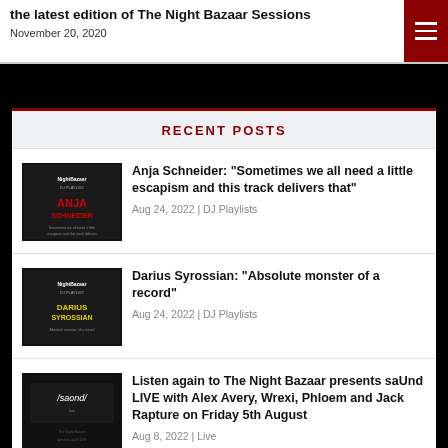the latest edition of The Night Bazaar Sessions
November 20, 2020
RECENT POSTS
Anja Schneider: “Sometimes we all need a little escapism and this track delivers that”
Aug 24, 2022 | DJ Playlists
Darius Syrossian: “Absolute monster of a record”
Aug 24, 2022 | DJ Playlists
Listen again to The Night Bazaar presents saUnd LIVE with Alex Avery, Wrexi, Phloem and Jack Rapture on Friday 5th August
Aug 8, 2022 | Live